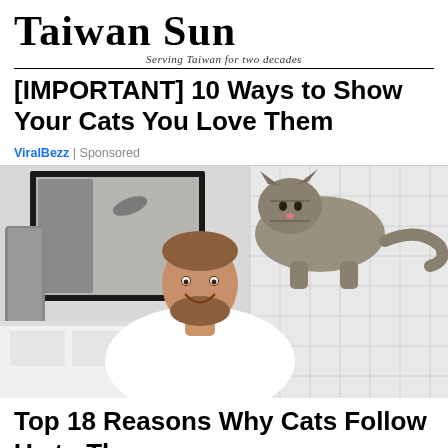Taiwan Sun — Serving Taiwan for two decades
[IMPORTANT] 10 Ways to Show Your Cats You Love Them
ViralBezz | Sponsored
[Figure (photo): A smiling bearded man in a white shirt leaning over a bathroom sink. A tabby cat stands on his shoulders/back, looking down at him. A bathroom mirror reflects a grey towel hanging nearby. White tile walls visible in background.]
Top 18 Reasons Why Cats Follow Us to The